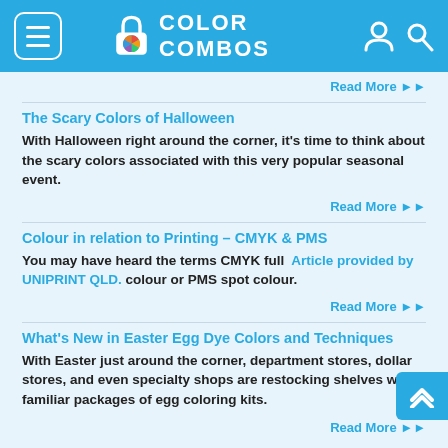COLOR COMBOS
Read More ▶▶
The Scary Colors of Halloween
With Halloween right around the corner, it's time to think about the scary colors associated with this very popular seasonal event.
Read More ▶▶
Colour in relation to Printing – CMYK & PMS
You may have heard the terms CMYK full  Article provided by UNIPRINT QLD. colour or PMS spot colour.
Read More ▶▶
What's New in Easter Egg Dye Colors and Techniques
With Easter just around the corner, department stores, dollar stores, and even specialty shops are restocking shelves with familiar packages of egg coloring kits.
Read More ▶▶